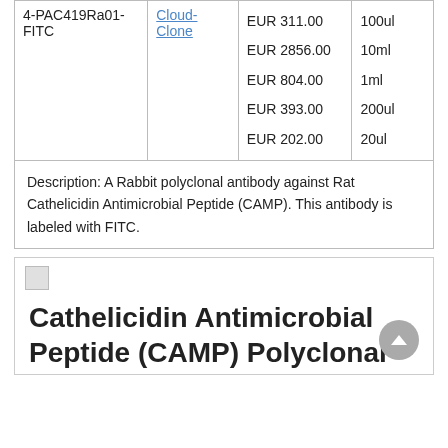|  |  | Price | Size |
| --- | --- | --- | --- |
| 4-PAC419Ra01-FITC | Cloud-Clone | EUR 311.00
EUR 2856.00
EUR 804.00
EUR 393.00
EUR 202.00 | 100ul
10ml
1ml
200ul
20ul |
Description: A Rabbit polyclonal antibody against Rat Cathelicidin Antimicrobial Peptide (CAMP). This antibody is labeled with FITC.
Cathelicidin Antimicrobial Peptide (CAMP) Polyclonal